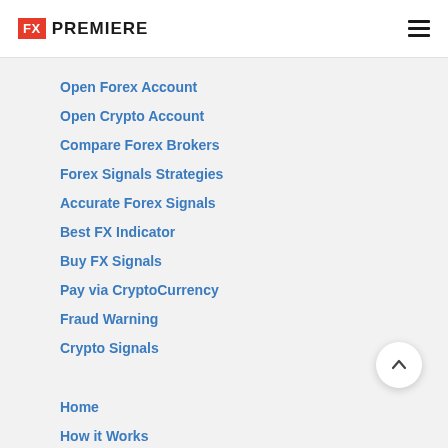FX PREMIERE
Open Forex Account
Open Crypto Account
Compare Forex Brokers
Forex Signals Strategies
Accurate Forex Signals
Best FX Indicator
Buy FX Signals
Pay via CryptoCurrency
Fraud Warning
Crypto Signals
Home
How it Works
About Us